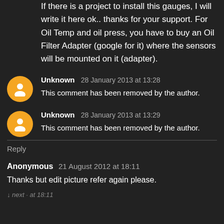If there is a project to install this gauges, I will write it here ok.. thanks for your support. For Oil Temp and oil press, you have to buy an Oil Filter Adapter (google for it) where the sensors will be mounted on it (adapter).
Unknown 28 January 2013 at 13:28
This comment has been removed by the author.
Unknown 28 January 2013 at 13:29
This comment has been removed by the author.
Reply
Anonymous 21 August 2012 at 18:11
Thanks but edit picture refer again please.